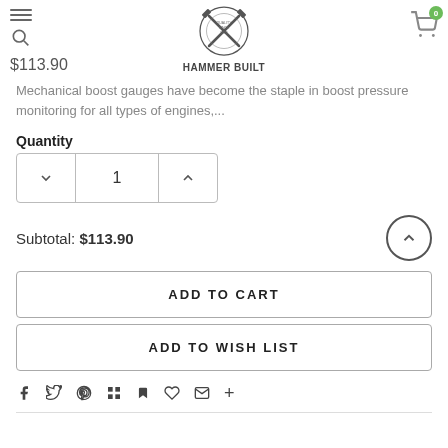Hammer Built — $113.90
Mechanical boost gauges have become the staple in boost pressure monitoring for all types of engines,...
Quantity
1
Subtotal: $113.90
ADD TO CART
ADD TO WISH LIST